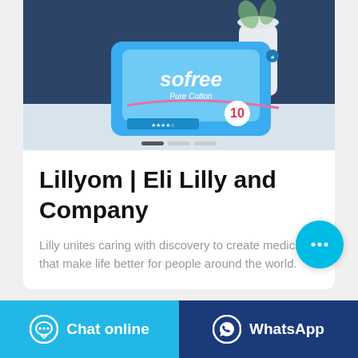[Figure (photo): Product photo of Sofree Pure Cotton sanitary pads package (blue packaging, showing the brand name 'sofree Pure Cotton' and '10' count), placed on a white surface against a dark navy blue background with a white vase/flower in the background.]
Lillyom | Eli Lilly and Company
Lilly unites caring with discovery to create medicines that make life better for people around the world.
Chat online
WhatsApp